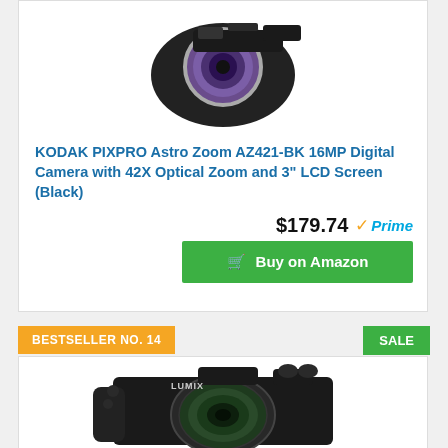[Figure (photo): KODAK PIXPRO Astro Zoom AZ421-BK camera product photo showing black camera with purple/violet lens from front-top angle]
KODAK PIXPRO Astro Zoom AZ421-BK 16MP Digital Camera with 42X Optical Zoom and 3" LCD Screen (Black)
$179.74 ✓Prime
🛒 Buy on Amazon
BESTSELLER NO. 14
SALE
[Figure (photo): Panasonic Lumix camera product photo showing black DSLR-style camera with large zoom lens from front angle]